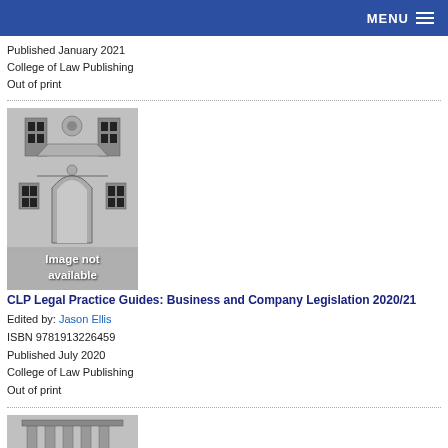MENU
Published January 2021
College of Law Publishing
Out of print
[Figure (illustration): Book cover placeholder showing an architectural building illustration with 'Image not available' overlay text]
CLP Legal Practice Guides: Business and Company Legislation 2020/21
Edited by: Jason Ellis
ISBN 9781913226459
Published July 2020
College of Law Publishing
Out of print
[Figure (illustration): Partial book cover placeholder at the bottom, showing the top of an architectural illustration]